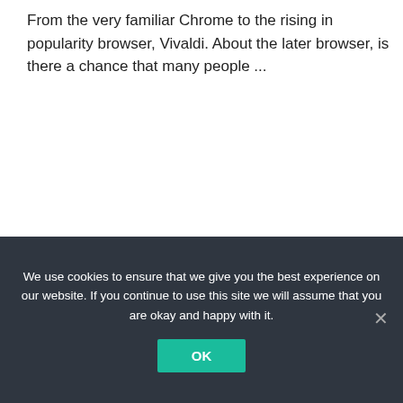From the very familiar Chrome to the rising in popularity browser, Vivaldi. About the later browser, is there a chance that many people ...
We use cookies to ensure that we give you the best experience on our website. If you continue to use this site we will assume that you are okay and happy with it.